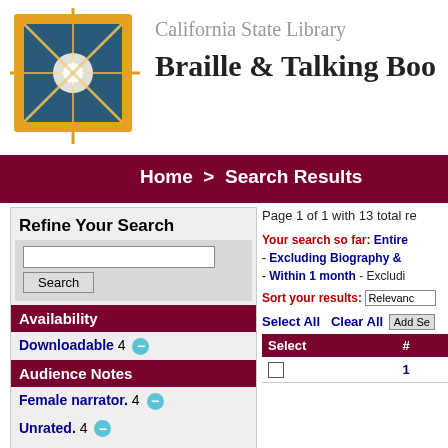[Figure (logo): California State Library starburst logo with gold border and teal/blue quadrants]
California State Library Braille & Talking Boo
Home > Search Results
Refine Your Search
Page 1 of 1 with 13 total re
Your search so far: Entire - Excluding Biography & - Within 1 month - Excludi
Sort your results: Relevanc
Availability
Downloadable 4 −
Audience Notes
Female narrator. 4 −
Unrated. 4 −
For grades 4-7. 2 −
Select All Clear All Add Se
| Select | # |
| --- | --- |
|  | 1 |